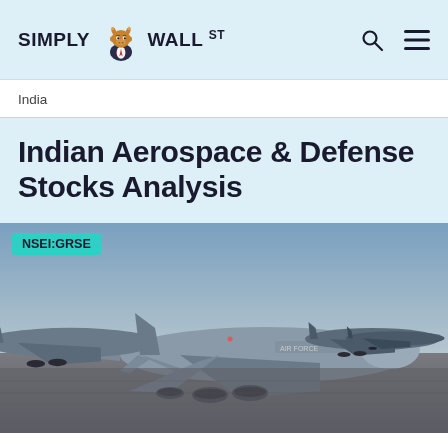SIMPLY WALL ST
India
Indian Aerospace & Defense Stocks Analysis
[Figure (photo): Row of military transport aircraft (C-17 Globemasters) lined up on an airfield tarmac, photographed from ground level. Badge overlay reads NSEI:GRSE in teal/green.]